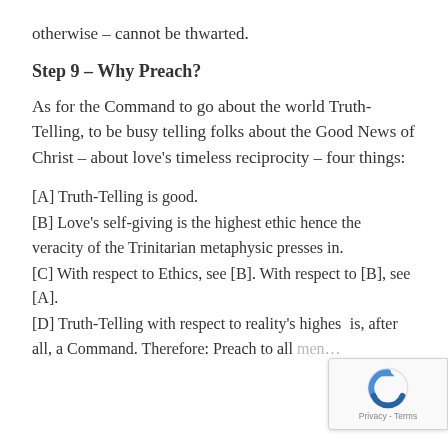otherwise – cannot be thwarted.
Step 9 – Why Preach?
As for the Command to go about the world Truth-Telling, to be busy telling folks about the Good News of Christ – about love's timeless reciprocity – four things:
[A] Truth-Telling is good.
[B] Love's self-giving is the highest ethic hence the veracity of the Trinitarian metaphysic presses in.
[C] With respect to Ethics, see [B]. With respect to [B], see [A].
[D] Truth-Telling with respect to reality's highest is, after all, a Command. Therefore: Preach to all men…